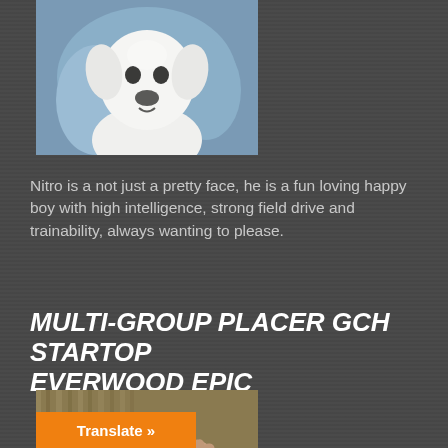[Figure (photo): White dog (Labrador) photographed from front/above, looking up, against a blue background. Only the upper portion of the dog is visible.]
Nitro is a not just a pretty face, he is a fun loving happy boy with high intelligence, strong field drive and trainability, always wanting to please.
MULTI-GROUP PLACER GCH STARTOP EVERWOOD EPIC
[Figure (photo): Black Labrador dog being petted by a person's hand, shown from the side/front, with a blurred background.]
Translate »